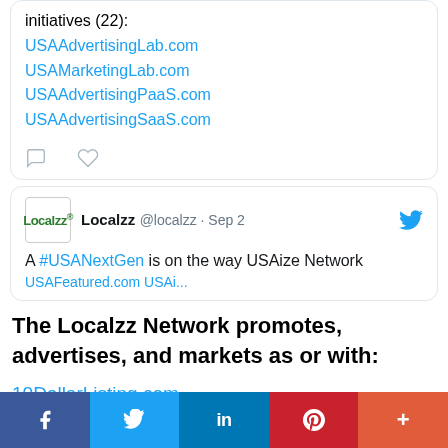initiatives (22): USAAdvertisingLab.com USAMarketingLab.com USAAdvertisingPaaS.com USAAdvertisingSaaS.com
[Figure (screenshot): Tweet from Localzz @localzz Sep 2: A #USANextGen is on the way USAize Network]
The Localzz Network promotes, advertises, and markets as or with:
10DollarListing.com
10DollarListings.com
25DollarListing.com
[Figure (infographic): Social share bar with Facebook, Twitter, LinkedIn, Pinterest, More buttons]